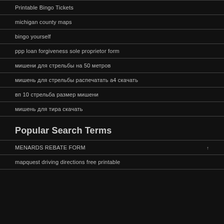Printable Bingo Tickets
michigan county maps
bingo yourself
ppp loan forgiveness sole proprietor form
мишени для стрельбы на 50 метров
мишень для стрельбы распечатать а4 скачать
вп 10 стрельба размер мишени
мишень для тира скачать
Popular Search Terms
MENARDS REBATE FORM
mapquest driving directions free printable